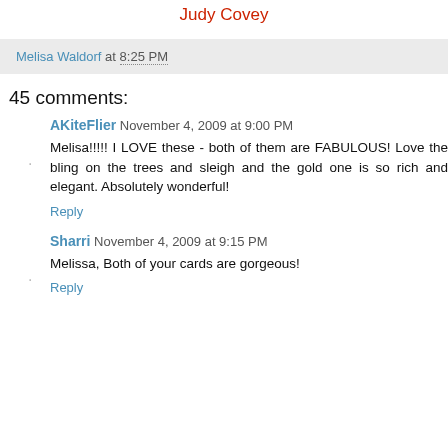Judy Covey
Melisa Waldorf at 8:25 PM
45 comments:
AKiteFlier November 4, 2009 at 9:00 PM
Melisa!!!!! I LOVE these - both of them are FABULOUS! Love the bling on the trees and sleigh and the gold one is so rich and elegant. Absolutely wonderful!
Reply
Sharri November 4, 2009 at 9:15 PM
Melissa, Both of your cards are gorgeous!
Reply